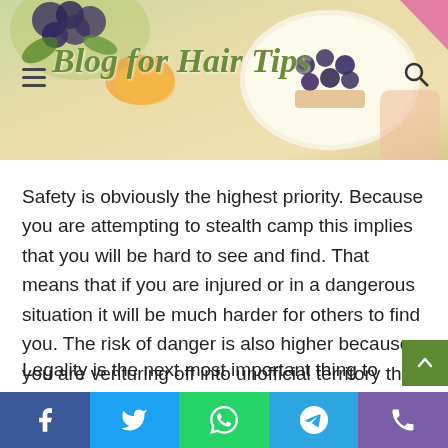Blog for Hair Tips
Safety is obviously the highest priority. Because you are attempting to stealth camp this implies that you will be hard to see and find. That means that if you are injured or in a dangerous situation it will be much harder for others to find you. The risk of danger is also higher because you are venturing off into unofficial territory that might not be well-trodden or vetted for camping. This all places a much higher burden of responsibility on your shoulders to ensure your safety.
Legality is the next most important thing to consider and often goes hand in hand with safety. There are places in the world